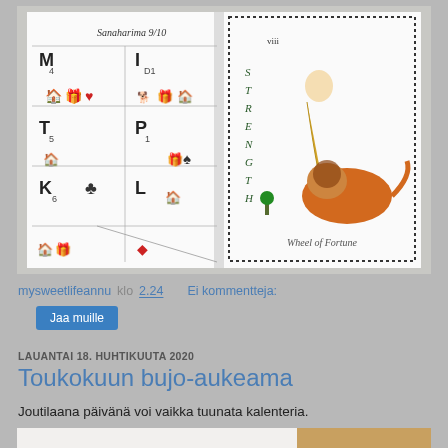[Figure (photo): Open notebook/journal with hand-drawn content: left page shows a grid/table with letters (M, I, T, P, K, L), card suits, and small illustrated icons (houses, gifts, hearts). Right page shows a hand-drawn tarot-style card 'Strength' with a figure and lion, labeled 'Wheel of Fortune' at bottom.]
mysweetlifeannu klo 2.24    Ei kommentteja:
Jaa muille
LAUANTAI 18. HUHTIKUUTA 2020
Toukokuun bujo-aukeama
Joutilaana päivänä voi vaikka tuunata kalenteria.
[Figure (photo): Partial photo of notebook/journal pages at bottom of page, partially cropped.]